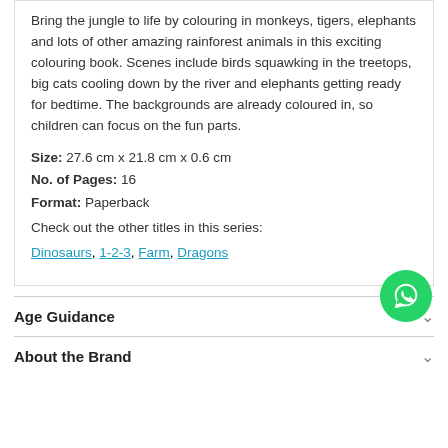Bring the jungle to life by colouring in monkeys, tigers, elephants and lots of other amazing rainforest animals in this exciting colouring book. Scenes include birds squawking in the treetops, big cats cooling down by the river and elephants getting ready for bedtime. The backgrounds are already coloured in, so children can focus on the fun parts.
Size: 27.6 cm x 21.8 cm x 0.6 cm
No. of Pages: 16
Format: Paperback
Check out the other titles in this series:
Dinosaurs, 1-2-3, Farm, Dragons
Age Guidance
About the Brand